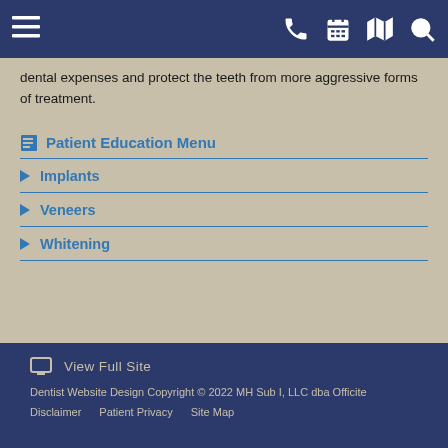navigation bar with hamburger menu, phone, calendar, map, and search icons
dental expenses and protect the teeth from more aggressive forms of treatment.
Patient Education Menu
Implants
Veneers
Whitening
View Full Site
Dentist Website Design Copyright © 2022 MH Sub I, LLC dba Officite
Disclaimer   Patient Privacy   Site Map